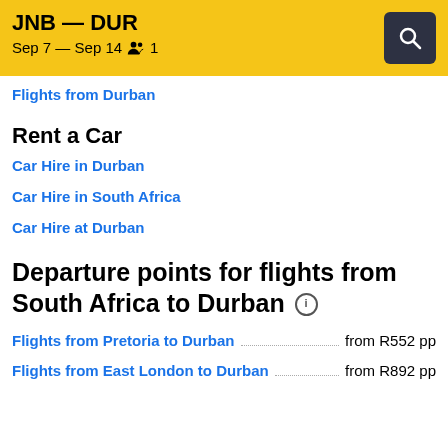JNB — DUR
Sep 7 — Sep 14  👥 1
Flights from Durban
Rent a Car
Car Hire in Durban
Car Hire in South Africa
Car Hire at Durban
Departure points for flights from South Africa to Durban ℹ
Flights from Pretoria to Durban ............... from R552 pp
Flights from East London to Durban ............... from R892 pp